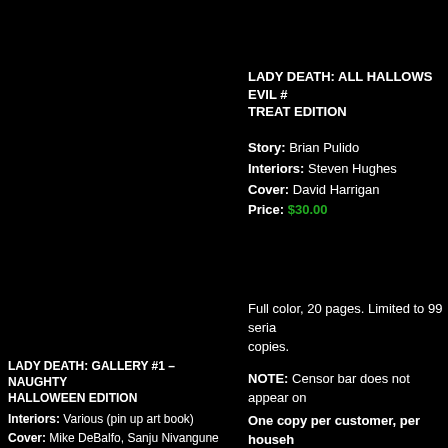LADY DEATH: ALL HALLOWS EVIL # TREAT EDITION
Story: Brian Pulido
Interiors: Steven Hughes
Cover: David Harrigan
Price: $30.00
Full color, 20 pages. Limited to 99 seria copies.
NOTE: Censor bar does not appear on
One copy per customer, per househ
LADY DEATH: GALLERY #1 – NAUGHTY HALLOWEEN EDITION
Interiors: Various (pin up art book)
Cover: Mike DeBalfo, Sanju Nivangune
Price: $40.00